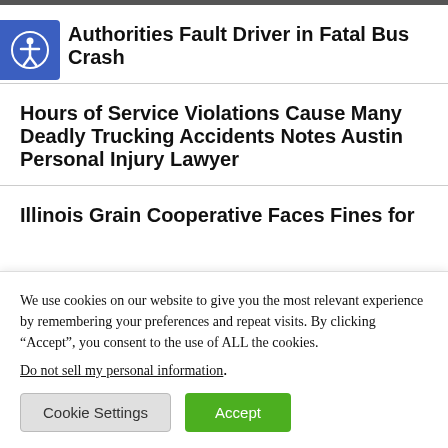Authorities Fault Driver in Fatal Bus Crash
Hours of Service Violations Cause Many Deadly Trucking Accidents Notes Austin Personal Injury Lawyer
Illinois Grain Cooperative Faces Fines for
We use cookies on our website to give you the most relevant experience by remembering your preferences and repeat visits. By clicking “Accept”, you consent to the use of ALL the cookies.
Do not sell my personal information.